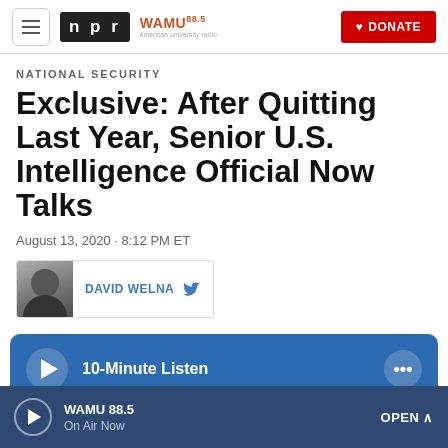NPR / WAMU 88.5 / DONATE
NATIONAL SECURITY
Exclusive: After Quitting Last Year, Senior U.S. Intelligence Official Now Talks
August 13, 2020 · 8:12 PM ET
DAVID WELNA
[Figure (infographic): Audio player bar with play button and '10-Minute Listen' label and more options button]
[Figure (infographic): Bottom live radio bar showing WAMU 88.5 On Air Now with play button and OPEN arrow]